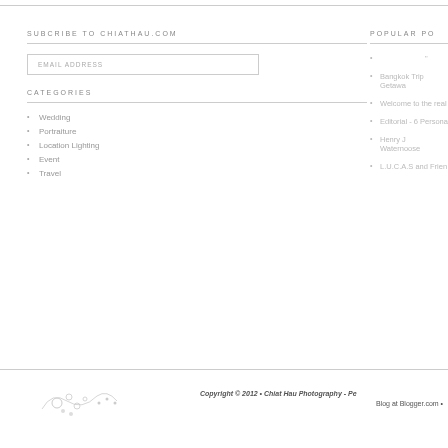SUBCRIBE TO CHIATHAU.COM
EMAIL ADDRESS
CATEGORIES
Wedding
Portraiture
Location Lighting
Event
Travel
POPULAR PO...
███████"
Bangkok Trip Getaw...
Welcome to the real...
Editorial - 6 Persona...
Henry J Waternoose...
L.U.C.A.S and Frien...
Copyright © 2012 • Chiat Hau Photography - Pe... Blog at Blogger.com •